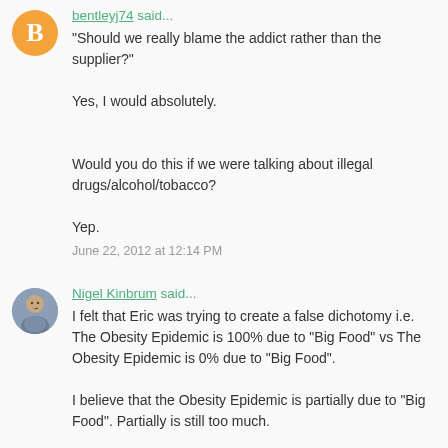bentleyj74 said...
"Should we really blame the addict rather than the supplier?"

Yes, I would absolutely.


Would you do this if we were talking about illegal drugs/alcohol/tobacco?

Yep.
June 22, 2012 at 12:14 PM
Nigel Kinbrum said...
I felt that Eric was trying to create a false dichotomy i.e. The Obesity Epidemic is 100% due to "Big Food" vs The Obesity Epidemic is 0% due to "Big Food".

I believe that the Obesity Epidemic is partially due to "Big Food". Partially is still too much.